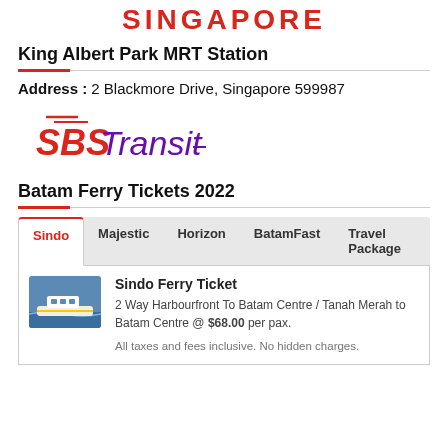SINGAPORE
King Albert Park MRT Station
Address : 2 Blackmore Drive, Singapore 599987
[Figure (logo): SBS Transit logo with red SBS text and purple italic Transit text]
Batam Ferry Tickets 2022
Tabs: Sindo (active), Majestic, Horizon, BatamFast, Travel Package
Sindo Ferry Ticket
2 Way Harbourfront To Batam Centre / Tanah Merah to Batam Centre @ $68.00 per pax.
All taxes and fees inclusive. No hidden charges.